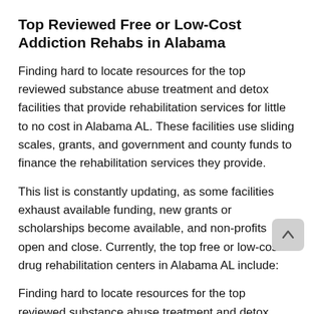Top Reviewed Free or Low-Cost Addiction Rehabs in Alabama
Finding hard to locate resources for the top reviewed substance abuse treatment and detox facilities that provide rehabilitation services for little to no cost in Alabama AL. These facilities use sliding scales, grants, and government and county funds to finance the rehabilitation services they provide.
This list is constantly updating, as some facilities exhaust available funding, new grants or scholarships become available, and non-profits open and close. Currently, the top free or low-cost drug rehabilitation centers in Alabama AL include:
Finding hard to locate resources for the top reviewed substance abuse treatment and detox facilities that provide rehabilitation services for little to no cost in Alabama AL.